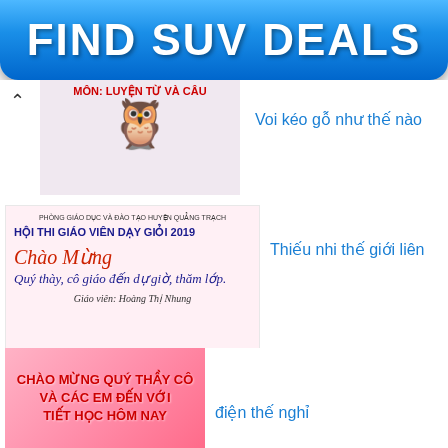[Figure (other): Blue gradient advertisement banner with white bold text 'FIND SUV DEALS']
[Figure (illustration): Educational image with owl character and text 'MON: LUYEN TU VA CAU' in red]
Voi kéo gỗ như thế nào
[Figure (other): Vietnamese school document: HOI THI GIAO VIEN DAY GIOI 2019 with Chao Mung greeting, Quy thay, co giao den du gio, tham lop, Giao vien: Hoang Thi Nhung]
Thiếu nhi thế giới liên
hoan
[Figure (photo): Image with cherry blossoms background and red text: CHAO MUNG QUY THAY CO VA CAC EM DEN VOI TIET HOC HOM NAY]
điện thế nghỉ